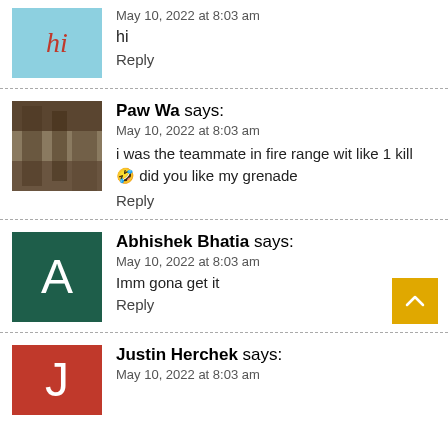May 10, 2022 at 8:03 am
hi
Reply
Paw Wa says:
May 10, 2022 at 8:03 am
i was the teammate in fire range wit like 1 kill 🤣 did you like my grenade
Reply
Abhishek Bhatia says:
May 10, 2022 at 8:03 am
Imm gona get it
Reply
Justin Herchek says:
May 10, 2022 at 8:03 am